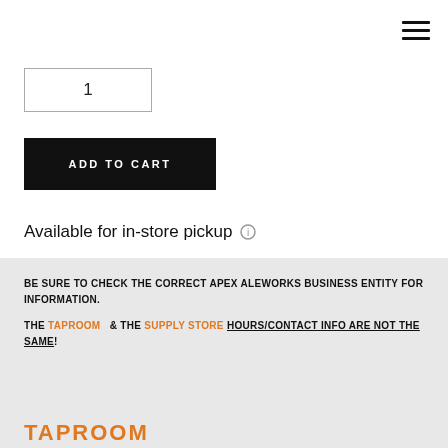[Figure (other): Hamburger menu icon (three horizontal lines) in top-right corner]
1
ADD TO CART
Available for in-store pickup ⓘ
BE SURE TO CHECK THE CORRECT APEX ALEWORKS BUSINESS ENTITY FOR INFORMATION. THE TAPROOM & THE SUPPLY STORE HOURS/CONTACT INFO ARE NOT THE SAME!
TAPROOM